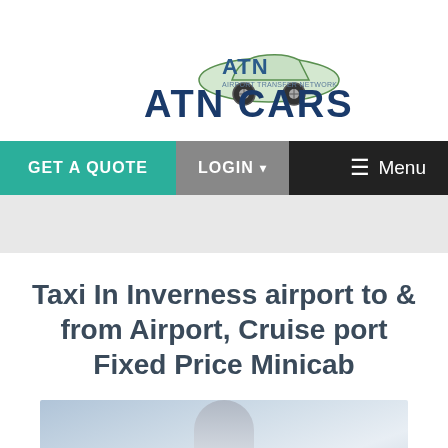[Figure (logo): ATN CARS - Airport Transfer Network logo with stylized car graphic and bold text]
[Figure (screenshot): Navigation bar with teal GET A QUOTE button, grey LOGIN dropdown button, and hamburger Menu on dark background]
Taxi In Inverness airport to & from Airport, Cruise port Fixed Price Minicab
[Figure (photo): Photo of a man at an airport, partially visible, cropped at bottom of page]